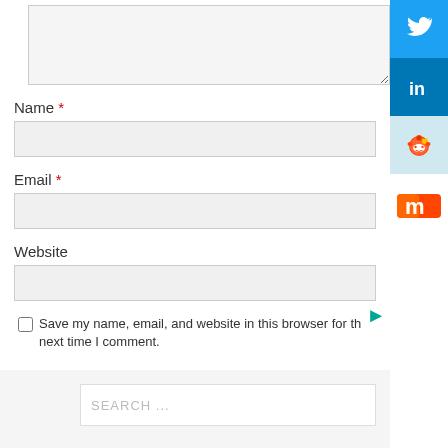[Figure (screenshot): Comment form textarea (top, partially visible), grayed out input box]
Name *
[Figure (screenshot): Name input field, light gray background]
Email *
[Figure (screenshot): Email input field, light gray background]
Website
[Figure (screenshot): Website input field, light gray background]
Save my name, email, and website in this browser for the next time I comment.
[Figure (screenshot): POST COMMENT button, orange/yellow background, white bold text]
[Figure (screenshot): Search box with placeholder SEARCH...]
[Figure (screenshot): Sidebar with Twitter, LinkedIn, Reddit social share buttons and Mix icon]